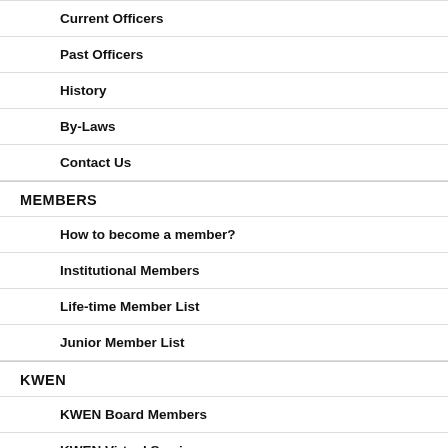Current Officers
Past Officers
History
By-Laws
Contact Us
MEMBERS
How to become a member?
Institutional Members
Life-time Member List
Junior Member List
KWEN
KWEN Board Members
KWEN Virtual Seminars
Year 2020